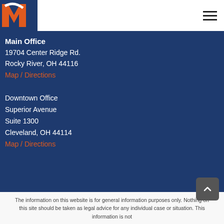[Figure (logo): Company logo with orange M on dark blue background]
Main Office
19704 Center Ridge Rd.
Rocky River, OH 44116
Map / Directions
Downtown Office
Superior Avenue
Suite 1300
Cleveland, OH 44114
Map / Directions
The information on this website is for general information purposes only. Nothing on this site should be taken as legal advice for any individual case or situation. This information is not